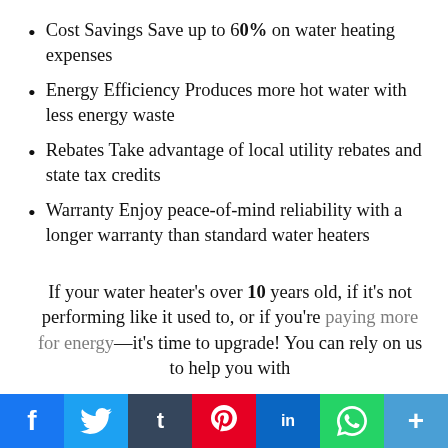Cost Savings Save up to 60% on water heating expenses
Energy Efficiency Produces more hot water with less energy waste
Rebates Take advantage of local utility rebates and state tax credits
Warranty Enjoy peace-of-mind reliability with a longer warranty than standard water heaters
If your water heater's over 10 years old, if it's not performing like it used to, or if you're paying more for energy—it's time to upgrade! You can rely on us to help you with